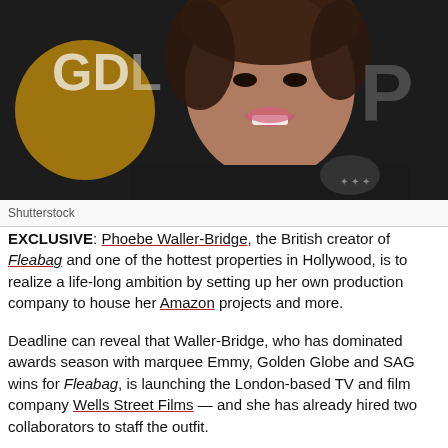[Figure (photo): Close-up photo of Phoebe Waller-Bridge smiling at what appears to be a red carpet event, wearing a dark embellished jacket. Golden Globe signage visible in the background.]
Shutterstock
EXCLUSIVE: Phoebe Waller-Bridge, the British creator of Fleabag and one of the hottest properties in Hollywood, is to realize a life-long ambition by setting up her own production company to house her Amazon projects and more.
Deadline can reveal that Waller-Bridge, who has dominated awards season with marquee Emmy, Golden Globe and SAG wins for Fleabag, is launching the London-based TV and film company Wells Street Films — and she has already hired two collaborators to staff the outfit.